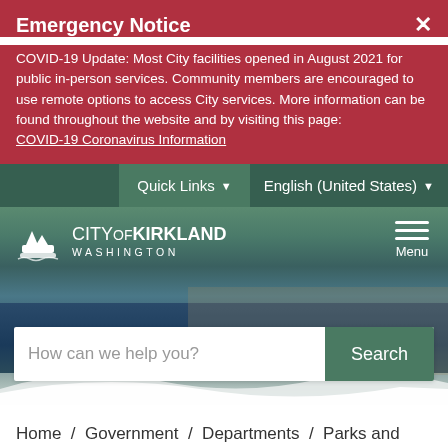Emergency Notice
COVID-19 Update: Most City facilities opened in August 2021 for public in-person services. Community members are encouraged to use remote options to access City services. More information can be found throughout the website and by visiting this page: COVID-19 Coronavirus Information
[Figure (screenshot): City of Kirkland Washington website header with navigation bar showing Quick Links and English (United States) dropdowns, city logo, hamburger menu, scenic hero image of marina/waterfront, search bar with 'How can we help you?' placeholder and Search button]
Home / Government / Departments / Parks and Community Services / Register for a Recreation Program